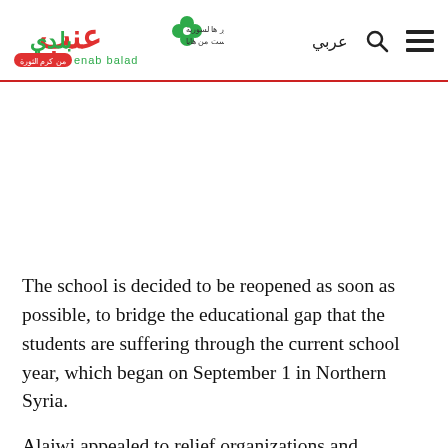Enab Baladi — عربي
[Figure (photo): Large image area (white/blank in this crop) below the navigation header]
The school is decided to be reopened as soon as possible, to bridge the educational gap that the students are suffering through the current school year, which began on September 1 in Northern Syria.
Alaiwi appealed to relief organizations and